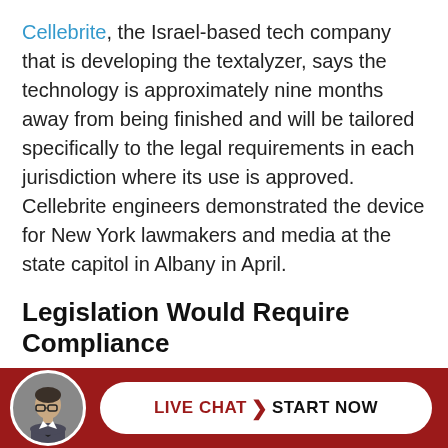Cellebrite, the Israel-based tech company that is developing the textalyzer, says the technology is approximately nine months away from being finished and will be tailored specifically to the legal requirements in each jurisdiction where its use is approved. Cellebrite engineers demonstrated the device for New York lawmakers and media at the state capitol in Albany in April.
Legislation Would Require Compliance
New York State is now considering legislation that would require that a person's license be suspended for...
[Figure (other): Footer bar with attorney avatar photo, LIVE CHAT arrow START NOW button on dark red background]